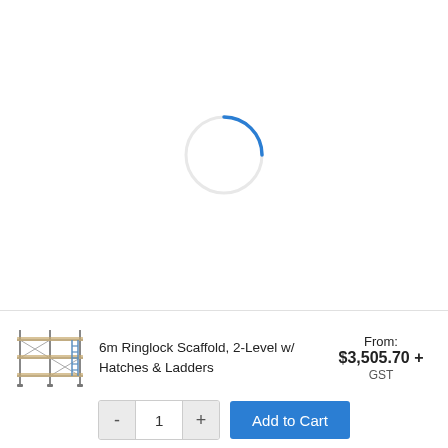[Figure (other): Loading spinner animation — a circle outline with a blue arc at the top indicating loading in progress]
[Figure (photo): Small product thumbnail image of a 6m Ringlock Scaffold, 2-Level with Hatches and Ladders — a metal scaffolding structure]
6m Ringlock Scaffold, 2-Level w/ Hatches & Ladders
From: $3,505.70 + GST
- 1 + Add to Cart